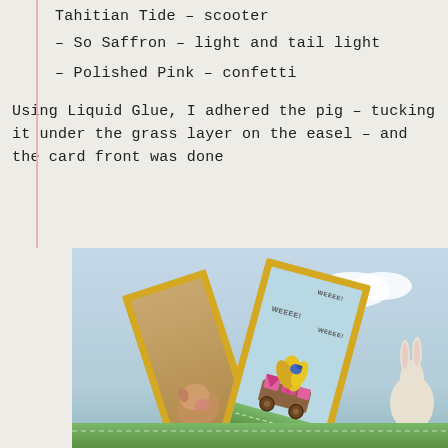Tahitian Tide - scooter (partial, cut off at top)
- So Saffron - light and tail light
- Polished Pink - confetti
Using Liquid Glue, I adhered the pig - tucking it under the grass layer on the easel - and the card front was done
[Figure (photo): Photo of a handmade easel card with yellow border, featuring a scooter/cart with pink banners and yellow feathers, set against a light blue sky background with green grass at the bottom. A pig stamp is visible on the left panel. Text 'WEEEE!' appears multiple times. A rabbit is partially visible at right edge.]